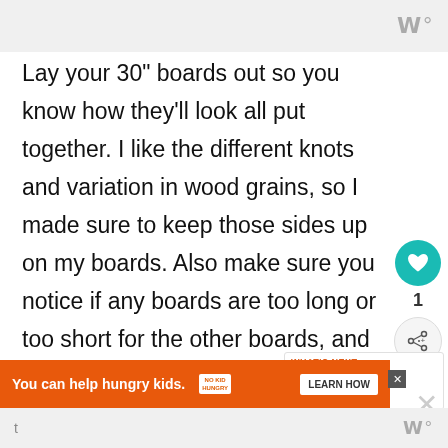Lay your 30" boards out so you know how they'll look all put together. I like the different knots and variation in wood grains, so I made sure to keep those sides up on my boards. Also make sure you notice if any boards are too long or too short for the other boards, and fix them before
[Figure (other): Social interaction sidebar with teal heart button showing count of 1, and a share button]
[Figure (other): What's Next widget showing Shiplap Wreath thumbnail and label]
[Figure (other): Orange ad banner: You can help hungry kids. No Kid Hungry. Learn How button with X close]